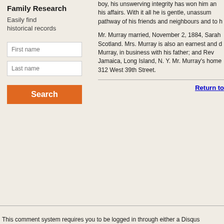Family Research
Easily find historical records
First name
Last name
Search
boy, his unswerving integrity has won him an his affairs. With it all he is gentle, unassum pathway of his friends and neighbours and to h
Mr. Murray married, November 2, 1884, Sarah Scotland. Mrs. Murray is also an earnest and d Murray, in business with his father; and Rev Jamaica, Long Island, N. Y. Mr. Murray's home 312 West 39th Street.
Return to
This comment system requires you to be logged in through either a Disqus